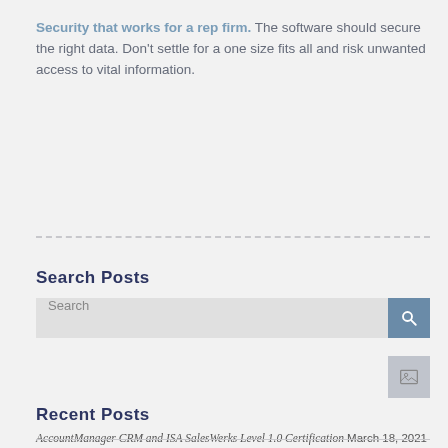Security that works for a rep firm. The software should secure the right data. Don't settle for a one size fits all and risk unwanted access to vital information.
Search Posts
[Figure (other): Search input bar with a gray text field showing placeholder text 'Search' and a steel-blue search button with a magnifying glass icon]
[Figure (other): Small gray square thumbnail placeholder image with a photo icon]
Recent Posts
AccountManager CRM and ISA SalesWerks Level 1.0 Certification March 18, 2021